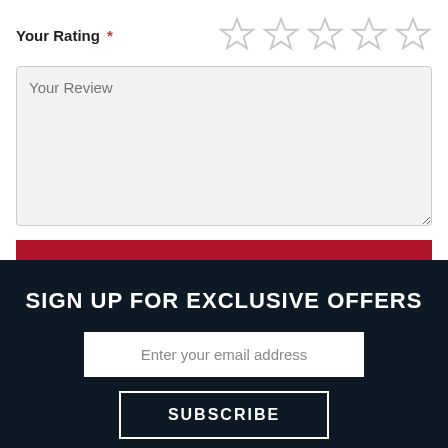Your Rating *
[Figure (other): Five empty star rating icons in a row]
Your Review (placeholder text in textarea)
SUBMIT
SIGN UP FOR EXCLUSIVE OFFERS
Enter your email address
SUBSCRIBE